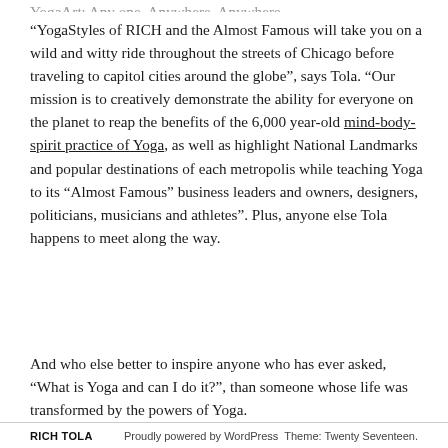YogaArt: Any one, Anywhere, Anywhere.
“YogaStyles of RICH and the Almost Famous will take you on a wild and witty ride throughout the streets of Chicago before traveling to capitol cities around the globe”, says Tola. “Our mission is to creatively demonstrate the ability for everyone on the planet to reap the benefits of the 6,000 year-old mind-body-spirit practice of Yoga, as well as highlight National Landmarks and popular destinations of each metropolis while teaching Yoga to its “Almost Famous” business leaders and owners, designers, politicians, musicians and athletes”. Plus, anyone else Tola happens to meet along the way.
And who else better to inspire anyone who has ever asked, “What is Yoga and can I do it?”, than someone whose life was transformed by the powers of Yoga.
RICH TOLA    Proudly powered by WordPress Theme: Twenty Seventeen.